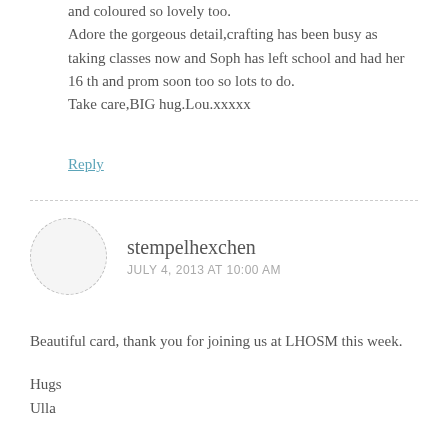and coloured so lovely too.
Adore the gorgeous detail,crafting has been busy as taking classes now and Soph has left school and had her 16 th and prom soon too so lots to do.
Take care,BIG hug.Lou.xxxxx
Reply
stempelhexchen
JULY 4, 2013 AT 10:00 AM
Beautiful card, thank you for joining us at LHOSM this week.

Hugs
Ulla